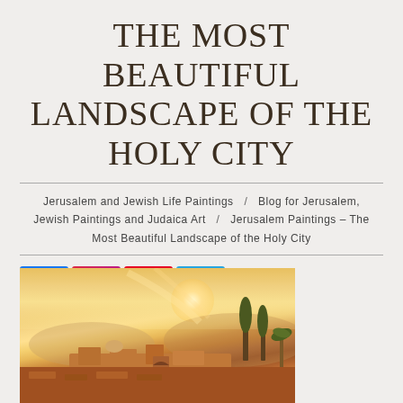THE MOST BEAUTIFUL LANDSCAPE OF THE HOLY CITY
Jerusalem and Jewish Life Paintings / Blog for Jerusalem, Jewish Paintings and Judaica Art / Jerusalem Paintings – The Most Beautiful Landscape of the Holy City
[Figure (illustration): Social media share buttons: Facebook (blue), Instagram (gradient), Pinterest (red), Telegram (blue)]
[Figure (photo): Painting of Jerusalem landscape at sunset showing the holy city with warm golden and orange tones, buildings and cypress trees in the foreground against a glowing sky]